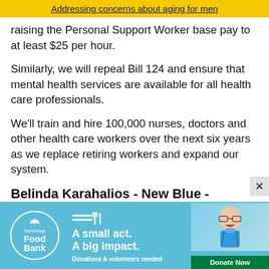Addressing concerns about aging for men
raising the Personal Support Worker base pay to at least $25 per hour.
Similarly, we will repeal Bill 124 and ensure that mental health services are available for all health care professionals.
We'll train and hire 100,000 nurses, doctors and other health care workers over the next six years as we replace retiring workers and expand our system.
Belinda Karahalios - New Blue - Cambridge
We…
[Figure (infographic): Cambridge Food Bank advertisement banner with blue background, logo circle, fork and spoon icon, text 'A small act. A big impact.', 'Donations & volunteers needed', a 'Donate Now' green button, and a photo of a child with glasses and backpack]